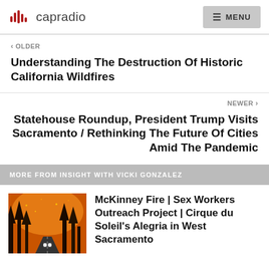capradio  MENU
< OLDER
Understanding The Destruction Of Historic California Wildfires
NEWER >
Statehouse Roundup, President Trump Visits Sacramento / Rethinking The Future Of Cities Amid The Pandemic
MORE FROM INSIGHT WITH VICKI GONZALEZ
[Figure (photo): A car driving on a road surrounded by intense orange wildfire with burning trees]
McKinney Fire | Sex Workers Outreach Project | Cirque du Soleil's Alegria in West Sacramento